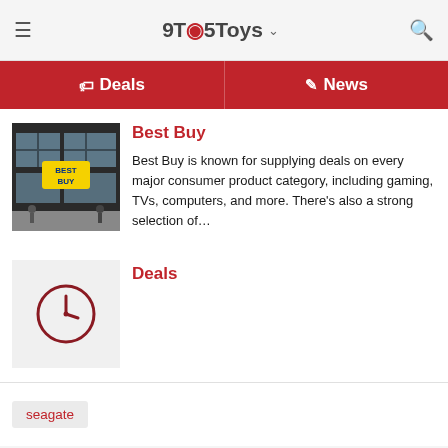9TO5Toys
Deals | News
Best Buy
Best Buy is known for supplying deals on every major consumer product category, including gaming, TVs, computers, and more. There's also a strong selection of...
[Figure (photo): Best Buy store exterior with yellow Best Buy logo sign]
Deals
[Figure (other): Clock icon placeholder thumbnail]
seagate